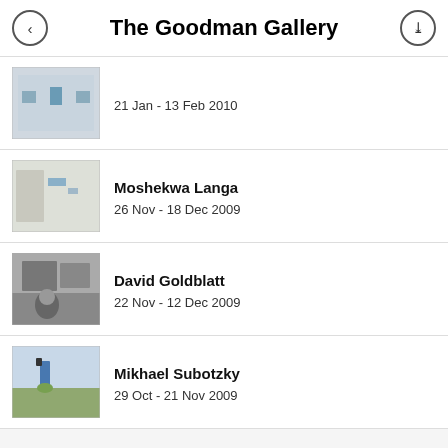The Goodman Gallery
21 Jan - 13 Feb 2010
Moshekwa Langa
26 Nov - 18 Dec 2009
David Goldblatt
22 Nov - 12 Dec 2009
Mikhael Subotzky
29 Oct - 21 Nov 2009